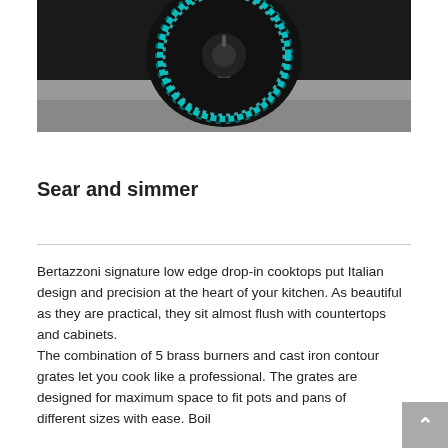[Figure (photo): Close-up of a gas cooktop burner with glowing teal/cyan flame ring on a dark surface, viewed from above.]
Sear and simmer
Bertazzoni signature low edge drop-in cooktops put Italian design and precision at the heart of your kitchen. As beautiful as they are practical, they sit almost flush with countertops and cabinets.
The combination of 5 brass burners and cast iron contour grates let you cook like a professional. The grates are designed for maximum space to fit pots and pans of different sizes with ease. Boil